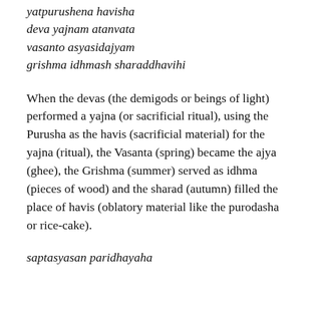yatpurushena havisha
deva yajnam atanvata
vasanto asyasidajyam
grishma idhmash sharaddhavihi
When the devas (the demigods or beings of light) performed a yajna (or sacrificial ritual), using the Purusha as the havis (sacrificial material) for the yajna (ritual), the Vasanta (spring) became the ajya (ghee), the Grishma (summer) served as idhma (pieces of wood) and the sharad (autumn) filled the place of havis (oblatory material like the purodasha or rice-cake).
saptasyasan paridhayaha